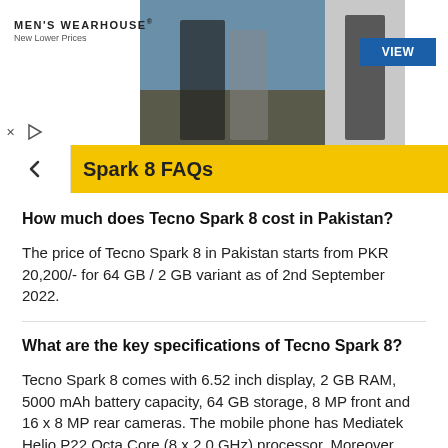[Figure (photo): Men's Wearhouse advertisement banner with wedding couple photo and 'VIEW' button]
Spark 8 FAQs
How much does Tecno Spark 8 cost in Pakistan?
The price of Tecno Spark 8 in Pakistan starts from PKR 20,200/- for 64 GB / 2 GB variant as of 2nd September 2022.
What are the key specifications of Tecno Spark 8?
Tecno Spark 8 comes with 6.52 inch display, 2 GB RAM, 5000 mAh battery capacity, 64 GB storage, 8 MP front and 16 x 8 MP rear cameras. The mobile phone has Mediatek Helio P22 Octa Core (8 x 2.0 GHz) processor. Moreover, Tecno Spark 8 comes pre-installed with